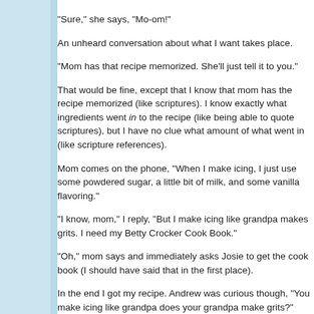"Sure," she says, "Mo-om!"
An unheard conversation about what I want takes place.
"Mom has that recipe memorized. She'll just tell it to you."
That would be fine, except that I know that mom has the recipe memorized (like scriptures). I know exactly what ingredients went in to the recipe (like being able to quote scriptures), but I have no clue what amount of what went in (like scripture references).
Mom comes on the phone, "When I make icing, I just use some powdered sugar, a little bit of milk, and some vanilla flavoring."
"I know, mom," I reply, "But I make icing like grandpa makes grits. I need my Betty Crocker Cook Book."
"Oh," mom says and immediately asks Josie to get the cook book (I should have said that in the first place).
In the end I got my recipe. Andrew was curious though, "You make icing like grandpa does your grandpa make grits?"